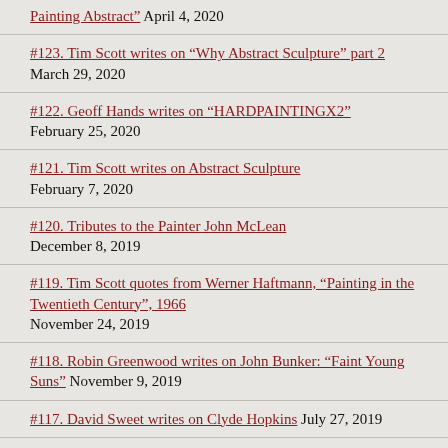Painting Abstract" April 4, 2020
#123. Tim Scott writes on “Why Abstract Sculpture” part 2 March 29, 2020
#122. Geoff Hands writes on “HARDPAINTINGX2” February 25, 2020
#121. Tim Scott writes on Abstract Sculpture February 7, 2020
#120. Tributes to the Painter John McLean December 8, 2019
#119. Tim Scott quotes from Werner Haftmann, “Painting in the Twentieth Century”, 1966 November 24, 2019
#118. Robin Greenwood writes on John Bunker: “Faint Young Suns” November 9, 2019
#117. David Sweet writes on Clyde Hopkins July 27, 2019